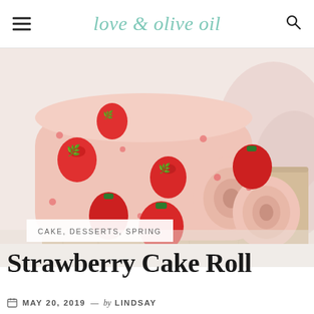love & olive oil
[Figure (photo): A strawberry cake roll with strawberry pattern on the outside, sliced on a wooden cutting board with fresh strawberries, pink linen in background]
CAKE, DESSERTS, SPRING
Strawberry Cake Roll
MAY 20, 2019 — by LINDSAY